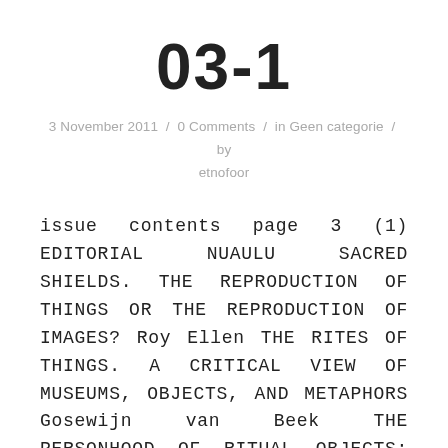03-1
3 November 2011  /  0 Comments  /  in Geen categorie  /  by etnofoor
issue contents page 3 (1) EDITORIAL NUAULU SACRED SHIELDS. THE REPRODUCTION OF THINGS OR THE REPRODUCTION OF IMAGES? Roy Ellen THE RITES OF THINGS. A CRITICAL VIEW OF MUSEUMS, OBJECTS, AND METAPHORS Gosewijn van Beek THE PERSONHOOD OF RITUAL OBJECTS: KONGO MINKISI Wyatt MacGaffey ALLAH'S WORDS